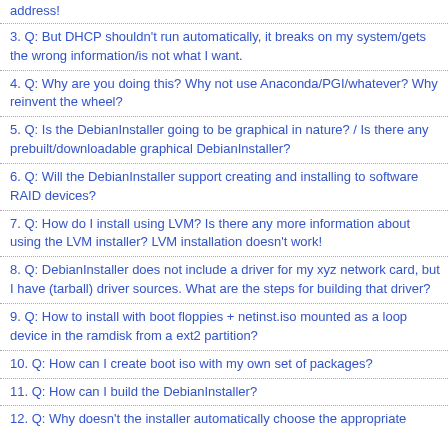address!
3. Q: But DHCP shouldn't run automatically, it breaks on my system/gets the wrong information/is not what I want.
4. Q: Why are you doing this? Why not use Anaconda/PGI/whatever? Why reinvent the wheel?
5. Q: Is the DebianInstaller going to be graphical in nature? / Is there any prebuilt/downloadable graphical DebianInstaller?
6. Q: Will the DebianInstaller support creating and installing to software RAID devices?
7. Q: How do I install using LVM? Is there any more information about using the LVM installer? LVM installation doesn't work!
8. Q: DebianInstaller does not include a driver for my xyz network card, but I have (tarball) driver sources. What are the steps for building that driver?
9. Q: How to install with boot floppies + netinst.iso mounted as a loop device in the ramdisk from a ext2 partition?
10. Q: How can I create boot iso with my own set of packages?
11. Q: How can I build the DebianInstaller?
12. Q: Why doesn't the installer automatically choose the appropriate